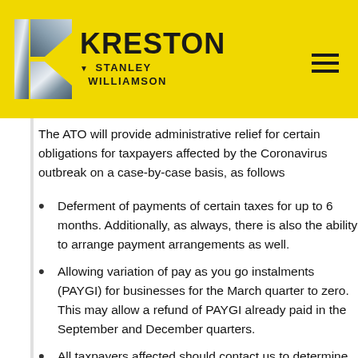[Figure (logo): Kreston Stanley Williamson logo on yellow background with stylized K icon]
The ATO will provide administrative relief for certain obligations for taxpayers affected by the Coronavirus outbreak on a case by case basis, as follows
Deferment of payments of certain taxes for up to 6 months. Additionally, as always, there is also the ability to arrange payment arrangements as well.
Allowing variation of pay as you go instalments (PAYGI) for businesses for the March quarter to zero. This may allow a refund of PAYGI already paid in the September and December quarters.
All taxpayers affected should contact us to determine the best way to access these concessions.